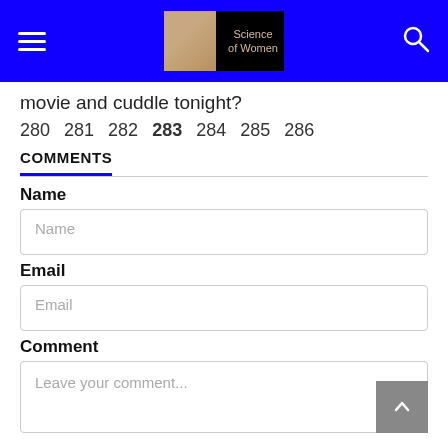Science of Women
movie and cuddle tonight?
280  281  282  283  284  285  286
COMMENTS
Name
Name (placeholder)
Email
Email (placeholder)
Comment
Leave your comment...